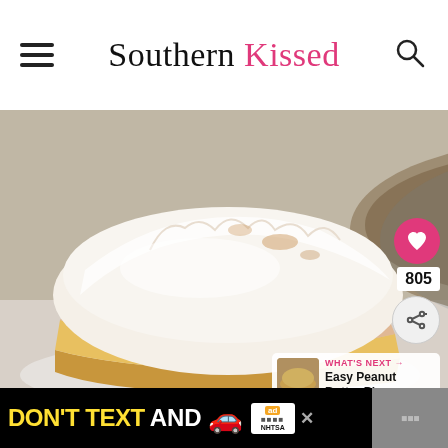Southern Kissed
[Figure (photo): Close-up of a slice of meringue pie with fluffy white meringue topping on a golden filling with a pastry crust, and a full pie dish blurred in the background.]
805
WHAT'S NEXT → Easy Peanut Butter Pie
[Figure (photo): Thumbnail photo of peanut butter pie.]
DON'T TEXT AND